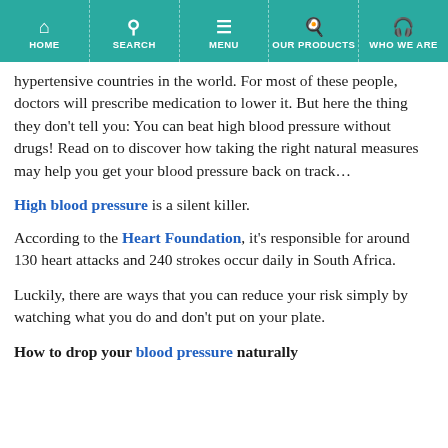HOME | SEARCH | MENU | OUR PRODUCTS | WHO WE ARE
hypertensive countries in the world. For most of these people, doctors will prescribe medication to lower it. But here the thing they don't tell you: You can beat high blood pressure without drugs! Read on to discover how taking the right natural measures may help you get your blood pressure back on track…
High blood pressure is a silent killer.
According to the Heart Foundation, it's responsible for around 130 heart attacks and 240 strokes occur daily in South Africa.
Luckily, there are ways that you can reduce your risk simply by watching what you do and don't put on your plate.
How to drop your blood pressure naturally